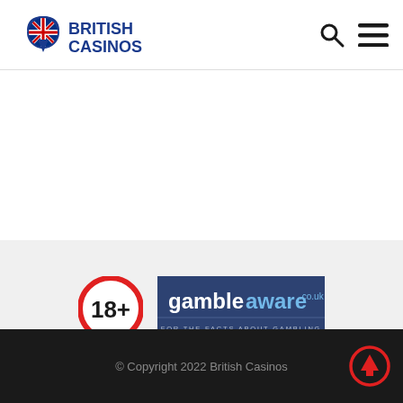British Casinos
[Figure (logo): 18+ age restriction badge — red circle with 18+ text in black]
[Figure (logo): GambleAware.co.uk logo — dark blue rectangle with gamble in white, aware in blue, FOR THE FACTS ABOUT GAMBLING tagline]
© Copyright 2022 British Casinos